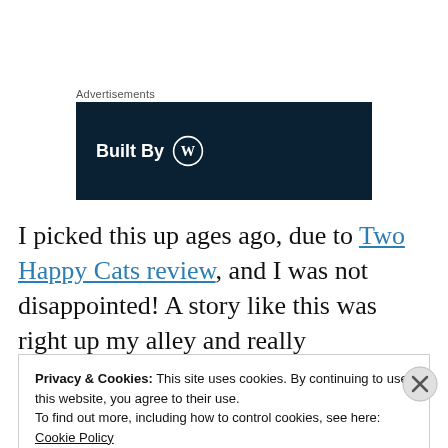Advertisements
[Figure (logo): Dark navy blue banner advertisement with white text 'Built By' and the WordPress circular logo in white]
I picked this up ages ago, due to Two Happy Cats review, and I was not disappointed! A story like this was right up my alley and really
Privacy & Cookies: This site uses cookies. By continuing to use this website, you agree to their use.
To find out more, including how to control cookies, see here: Cookie Policy
Close and accept